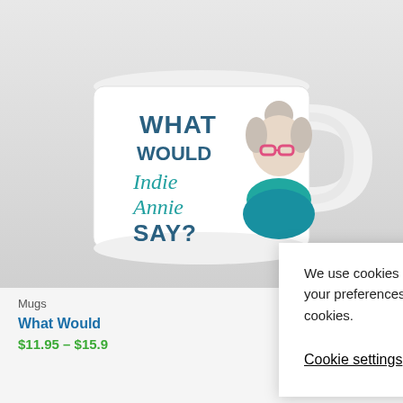[Figure (photo): A white ceramic mug with 'What Would Indie Annie Say?' printed on it along with an illustrated older woman with gray hair and pink glasses wearing a teal scarf.]
Mugs
What Would
$11.95 – $15.9
We use cookies on our website to give you the most relevant experience by remembering your preferences and repeat visits. By clicking “Accept”, you consent to the use of ALL the cookies.
Cookie settings
ACCEPT